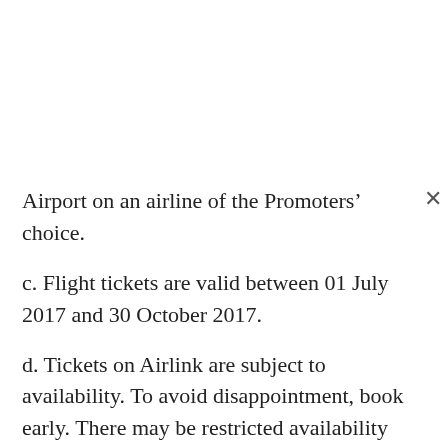Airport on an airline of the Promoters' choice.
c. Flight tickets are valid between 01 July 2017 and 30 October 2017.
d. Tickets on Airlink are subject to availability. To avoid disappointment, book early. There may be restricted availability of free tickets on certain periods of high demand, such as during public holidays and peak seasons.
e. Flights include taxes and a standard luggage allowance.
f. Each pair of return tickets must be used together. Both passengers must travel together.